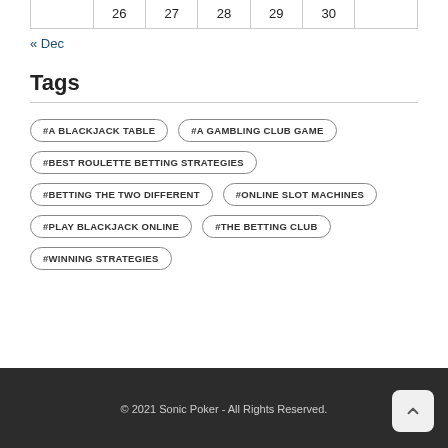| 26 | 27 | 28 | 29 | 30 |  |
| --- | --- | --- | --- | --- | --- |
|  |
« Dec
Tags
#A BLACKJACK TABLE
#A GAMBLING CLUB GAME
#BEST ROULETTE BETTING STRATEGIES
#BETTING THE TWO DIFFERENT
#ONLINE SLOT MACHINES
#PLAY BLACKJACK ONLINE
#THE BETTING CLUB
#WINNING STRATEGIES
© 2021 Sonic Poker - All Rights Reserved.